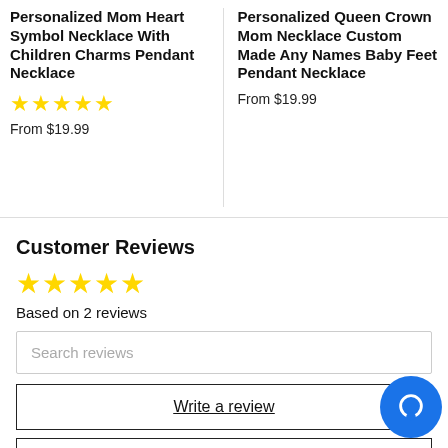Personalized Mom Heart Symbol Necklace With Children Charms Pendant Necklace
From $19.99
Personalized Queen Crown Mom Necklace Custom Made Any Names Baby Feet Pendant Necklace
From $19.99
Customer Reviews
Based on 2 reviews
Search reviews
Write a review
Ask a question